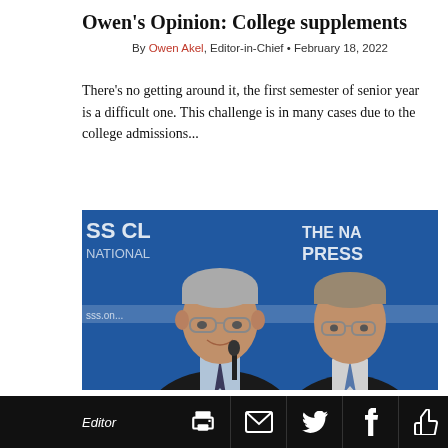Owen's Opinion: College supplements
By Owen Akel, Editor-in-Chief • February 18, 2022
There's no getting around it, the first semester of senior year is a difficult one. This challenge is in many cases due to the college admissions...
[Figure (photo): Two men in dark suits at a press conference podium; blue National Press Club backdrop visible behind them. The man in the foreground is speaking into a microphone, wearing glasses.]
Editor